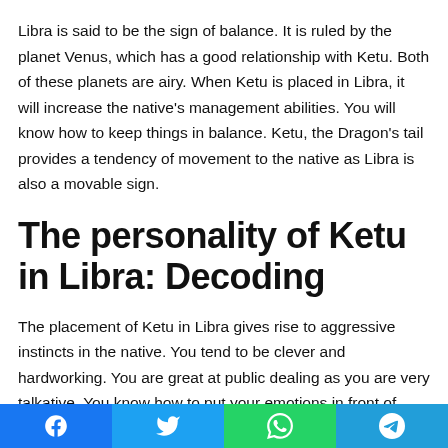Libra is said to be the sign of balance. It is ruled by the planet Venus, which has a good relationship with Ketu. Both of these planets are airy. When Ketu is placed in Libra, it will increase the native's management abilities. You will know how to keep things in balance. Ketu, the Dragon's tail provides a tendency of movement to the native as Libra is also a movable sign.
The personality of Ketu in Libra: Decoding
The placement of Ketu in Libra gives rise to aggressive instincts in the native. You tend to be clever and hardworking. You are great at public dealing as you are very talkative. You know how to put your emotions in front of others. Ketu in Libra will sometimes make you rely on your family sometimes. While